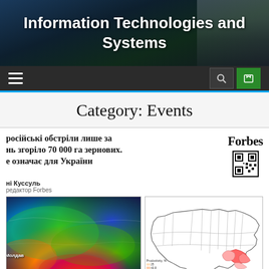Information Technologies and Systems
Category: Events
російські обстріли лише за нь згоріло 70 000 га зернових. е означає для України
Forbes
ні Куссуль
редактор Forbes
[Figure (map): Satellite/remote sensing vegetation/heat map of Ukraine showing color-coded data (blue to red gradient), with label Молдав visible]
[Figure (map): Outline map of Ukraine with regional boundaries, showing pink/red shading in southeastern regions near Donetsk/Crimea. Legend shows Productivity % values: 25, 43.8, 62.6, 81.2, 100]